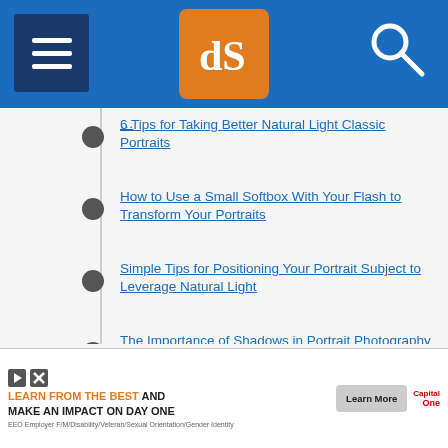dPS (Digital Photography School) navigation header
6 Tips for Taking Better Natural Light Classic Portraits
How to Use a Small Softbox With Your Flash to Transform Your Portraits
Simple Tips for Positioning Your Portrait Subject to Leverage Natural Light
The Importance of Shadows in Portrait Photography
So You Have No Model? Here are Ways to Practice Your Portrait Lighting With Toys
[Figure (screenshot): Capital One advertisement banner: 'LEARN FROM THE BEST AND MAKE AN IMPACT ON DAY ONE' with a Learn More button and Capital One logo]